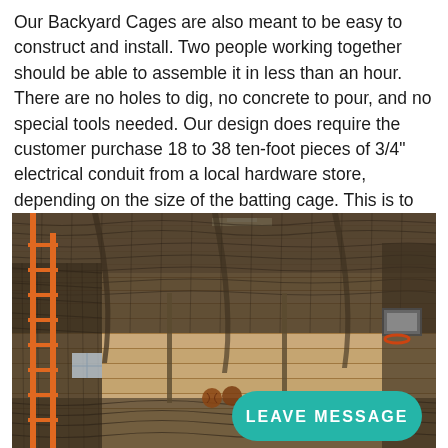Our Backyard Cages are also meant to be easy to construct and install. Two people working together should be able to assemble it in less than an hour. There are no holes to dig, no concrete to pour, and no special tools needed. Our design does require the customer purchase 18 to 38 ten-foot pieces of 3/4" electrical conduit from a local hardware store, depending on the size of the batting cage. This is to save a huge amount on the shipping cost
[Figure (photo): Indoor batting cage netting installed in a gymnasium or barn-like structure with orange framing ladders on the left, a basketball hoop visible on the right wall, and dark netting draped across the ceiling and walls. A teal 'LEAVE MESSAGE' button overlay appears in the lower right corner.]